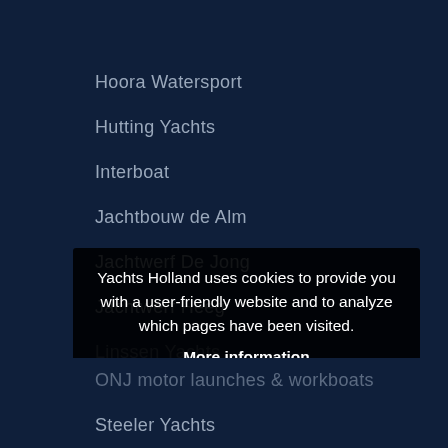Hoora Watersport
Hutting Yachts
Interboat
Jachtbouw de Alm
Jachtwerf De Jong
Jachtwerf Heeg
Linssen Yachts
No Limit Ships
Noblesse Cruiser
Yachts Holland uses cookies to provide you with a user-friendly website and to analyze which pages have been visited.

More information
ACCEPT  DECLINE
ONJ motor launches & workboats
Steeler Yachts